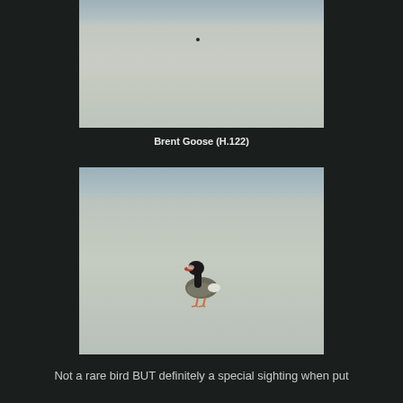[Figure (photo): A distant bird (Brent Goose) visible as a small dark dot on a sandy beach with waves at the top edge]
Brent Goose (H.122)
[Figure (photo): A Brent Goose standing on a sandy beach, showing its dark head, neck, and back with lighter underparts]
Not a rare bird BUT definitely a special sighting when put